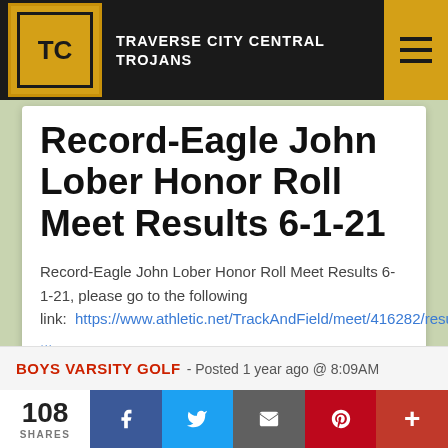TRAVERSE CITY CENTRAL TROJANS
Record-Eagle John Lober Honor Roll Meet Results 6-1-21
Record-Eagle John Lober Honor Roll Meet Results 6-1-21, please go to the following link:  https://www.athletic.net/TrackAndField/meet/416282/results ...
Read More
BOYS VARSITY GOLF  -  Posted 1 year ago @ 8:09AM
108 SHARES